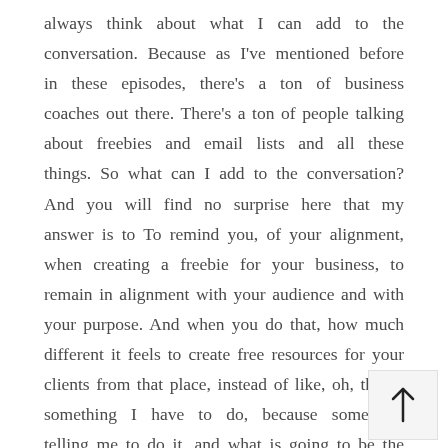always think about what I can add to the conversation. Because as I've mentioned before in these episodes, there's a ton of business coaches out there. There's a ton of people talking about freebies and email lists and all these things. So what can I add to the conversation? And you will find no surprise here that my answer is to To remind you, of your alignment, when creating a freebie for your business, to remain in alignment with your audience and with your purpose. And when you do that, how much different it feels to create free resources for your clients from that place, instead of like, oh, this is something I have to do, because someone's telling me to do it, and what is going to be the thing that gets most people and, you know, we can very easily get i